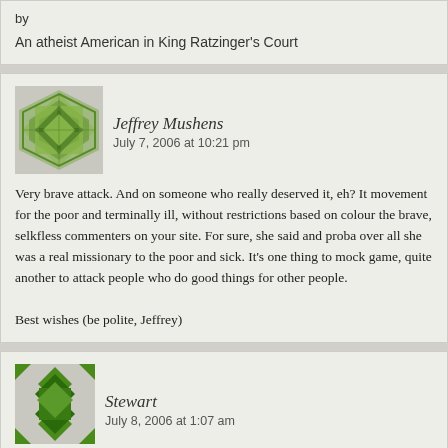by
An atheist American in King Ratzinger's Court
Jeffrey Mushens
July 7, 2006 at 10:21 pm
Very brave attack. And on someone who really deserved it, eh? It movement for the poor and terminally ill, without restrictions based on colour the brave, selkfless commenters on your site. For sure, she said and proba over all she was a real missionary to the poor and sick. It’s one thing to mock game, quite another to attack people who do good things for other people.

Best wishes (be polite, Jeffrey)
Stewart
July 8, 2006 at 1:07 am
But JM, is it impossible (not are you consciously doing it, but it is in all innocence, what Hitchens suggests so many are doing: judging her act than the (surely you will agree) more sensible other way round? I don’t know informedness you have about her. I claim none for myself, but Hitchens not of li i ld f i hi th l d i i l d i